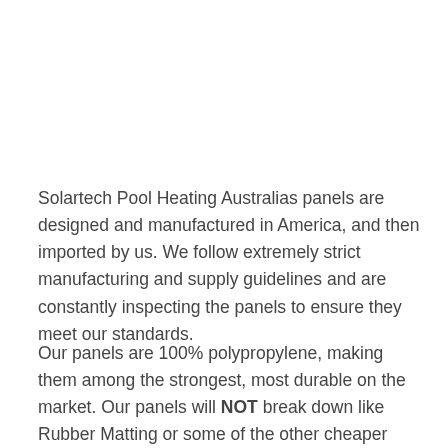Solartech Pool Heating Australias panels are designed and manufactured in America, and then imported by us. We follow extremely strict manufacturing and supply guidelines and are constantly inspecting the panels to ensure they meet our standards.
Our panels are 100% polypropylene, making them among the strongest, most durable on the market. Our panels will NOT break down like Rubber Matting or some of the other cheaper panels on the market.